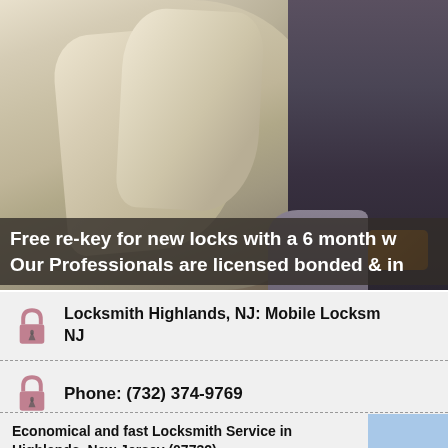[Figure (photo): Close-up photo of crumpled beige/khaki fabric (clothing) with a dark blue-gray background and an orange object visible in the lower right corner]
Free re-key for new locks with a 6 month w
Our Professionals are licensed bonded & in
Locksmith Highlands, NJ: Mobile Locksmith
NJ
Phone: (732) 374-9769
Economical and fast Locksmith Service in Highlands, New Jersey (07732)